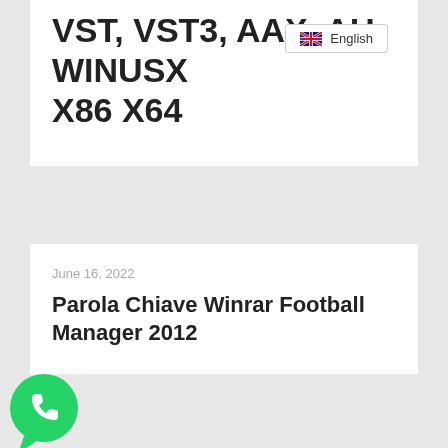[Figure (screenshot): Language selector button showing UK flag and 'English' text]
VST, VST3, AAX, AU WINUSX X86 X64
June 16, 2022
Parola Chiave Winrar Football Manager 2012
[Figure (logo): WhatsApp green circular logo button]
June 16, 2022
Ami Sudhu Cheyechi Tomay !LINK! Full Movie 720p –